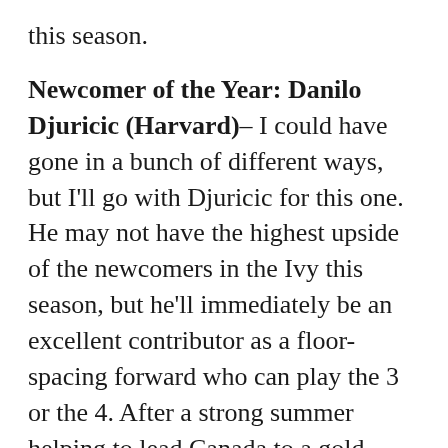this season.
Newcomer of the Year: Danilo Djuricic (Harvard) – I could have gone in a bunch of different ways, but I'll go with Djuricic for this one. He may not have the highest upside of the newcomers in the Ivy this season, but he'll immediately be an excellent contributor as a floor-spacing forward who can play the 3 or the 4. After a strong summer helping to lead Canada to a gold medal at the FIBA U19 World Cup, Djuricic seems ready to be the type of guy who makes winning plays and hits big shots. He'll find a role on this Harvard team.